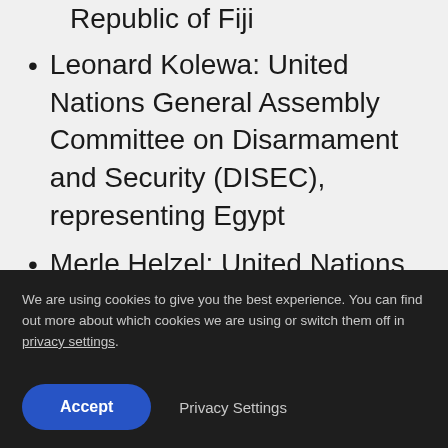Republic of Fiji
Leonard Kolewa: United Nations General Assembly Committee on Disarmament and Security (DISEC), representing Egypt
Merle Helzel: United Nations Women
We are using cookies to give you the best experience. You can find out more about which cookies we are using or switch them off in privacy settings.